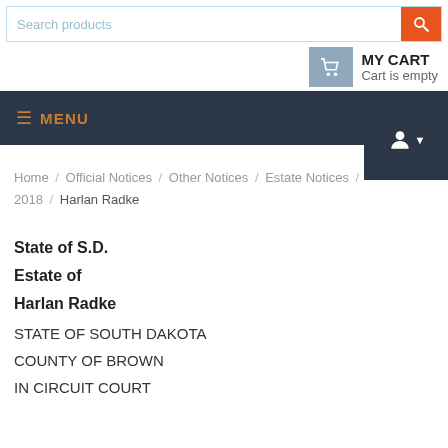Search products
MY CART
Cart is empty
MENU
Home / Official Notices / Other Notices / Estate Notices / 2018 / Harlan Radke
State of S.D.
Estate of
Harlan Radke
STATE OF SOUTH DAKOTA
COUNTY OF BROWN
IN CIRCUIT COURT